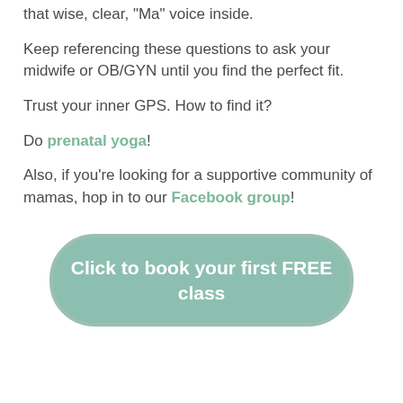that wise, clear, “Ma” voice inside.
Keep referencing these questions to ask your midwife or OB/GYN until you find the perfect fit.
Trust your inner GPS. How to find it?
Do prenatal yoga!
Also, if you’re looking for a supportive community of mamas, hop in to our Facebook group!
[Figure (other): A rounded rectangle button with sage/teal green background reading 'Click to book your first FREE class' in white text]